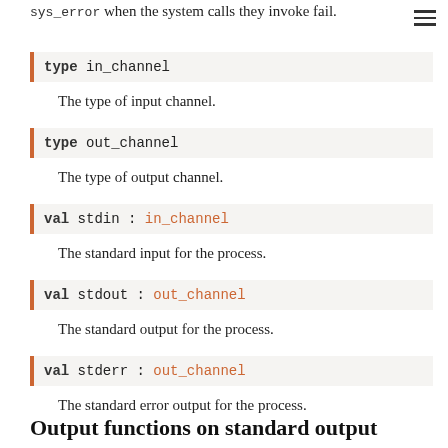sys_error when the system calls they invoke fail.
type in_channel
The type of input channel.
type out_channel
The type of output channel.
val stdin : in_channel
The standard input for the process.
val stdout : out_channel
The standard output for the process.
val stderr : out_channel
The standard error output for the process.
Output functions on standard output